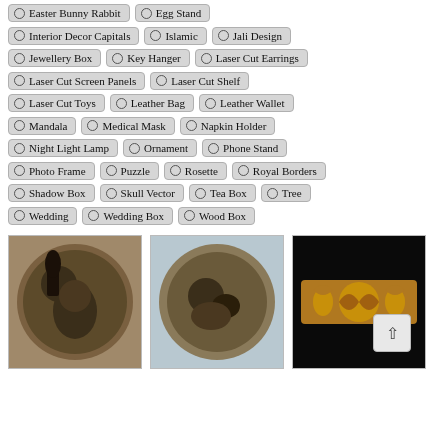Easter Bunny Rabbit
Egg Stand
Interior Decor Capitals
Islamic
Jali Design
Jewellery Box
Key Hanger
Laser Cut Earrings
Laser Cut Screen Panels
Laser Cut Shelf
Laser Cut Toys
Leather Bag
Leather Wallet
Mandala
Medical Mask
Napkin Holder
Night Light Lamp
Ornament
Phone Stand
Photo Frame
Puzzle
Rosette
Royal Borders
Shadow Box
Skull Vector
Tea Box
Tree
Wedding
Wedding Box
Wood Box
[Figure (photo): Circular carved wood or relief artwork showing a figure with a raven]
[Figure (photo): Circular carved wood or relief artwork showing animals or figures]
[Figure (photo): Wood carving ornamental border/scroll design on black background]